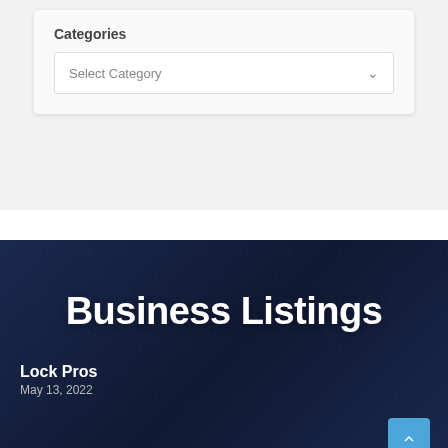Categories
Select Category
Business Listings
Lock Pros
May 13, 2022